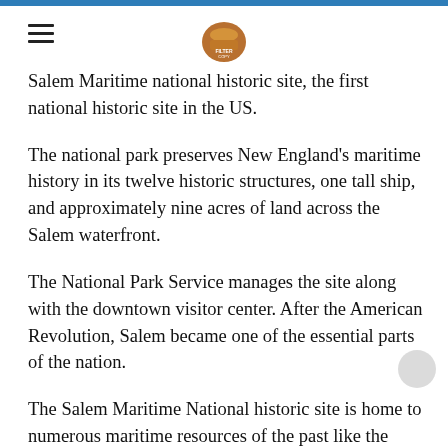≡ [logo]
Salem Maritime national historic site, the first national historic site in the US.
The national park preserves New England's maritime history in its twelve historic structures, one tall ship, and approximately nine acres of land across the Salem waterfront.
The National Park Service manages the site along with the downtown visitor center. After the American Revolution, Salem became one of the essential parts of the nation.
The Salem Maritime National historic site is home to numerous maritime resources of the past like the Friendship of Salem, Hawkes House, Narbonne House, Pedrick Store House, Salem Custom House, etc.